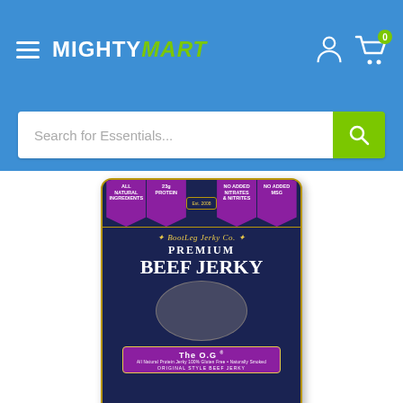MIGHTYMART — navigation header with hamburger menu, logo, account icon, and cart (0 items)
Search for Essentials...
[Figure (photo): Bootleg Jerky Co. Premium Beef Jerky package — The O.G. Original Style Beef Jerky, dark navy blue packaging with purple banners and gold border]